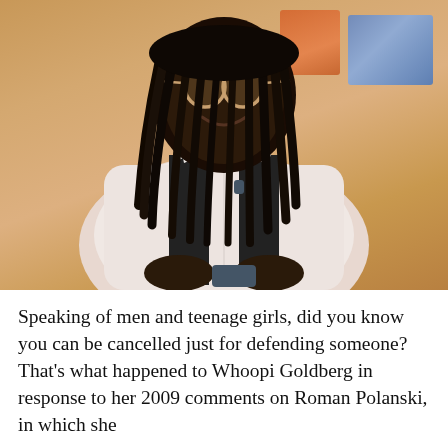[Figure (photo): A woman wearing glasses, with dark dreadlocks, dressed in a white shirt and dark vest, seated and smiling at a talk show set with a warm orange and blue background.]
Speaking of men and teenage girls, did you know you can be cancelled just for defending someone? That's what happened to Whoopi Goldberg in response to her 2009 comments on Roman Polanski, in which she